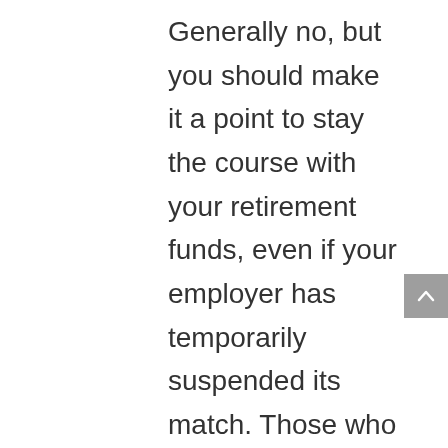Generally no, but you should make it a point to stay the course with your retirement funds, even if your employer has temporarily suspended its match. Those who have been working from home during the pandemic may have increased funds available due to reduced costs (no commuting, no dining out, fewer expenditures for movies, concerts, and the theatre). If that is the case you might be wise to put additional money aside for retirement.